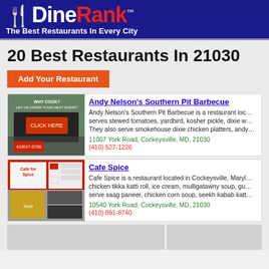DineRank™ — The Best Restaurants In Every City
20 Best Restaurants In 21030
Add Your Restaurant
Andy Nelson's Southern Pit Barbecue — Andy Nelson's Southern Pit Barbecue is a restaurant located serves stewed tomatoes, yardbird, kosher pickle, dixie w… They also serve smokehouse dixie chicken platters, and… 11007 York Road, Cockeysville, MD, 21030 (410) 527-1226
Cafe Spice — Cafe Spice is a restaurant located in Cockeysville, Maryland. chicken tikka katti roll, ice cream, mulligatawny soup, gu… serve saag paneer, chicken corn soup, seekh kabab katt… 10540 York Road, Cockeysville, MD, 21030 (410) 891-8740